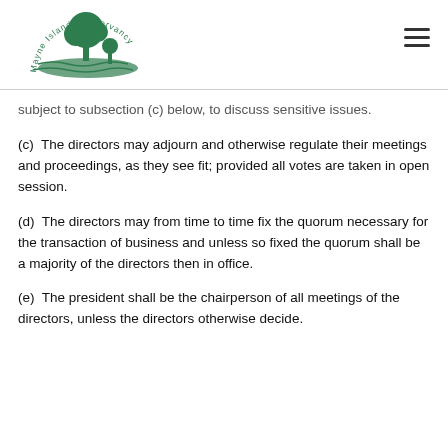Mayne Island Conservancy
subject to subsection (c) below, to discuss sensitive issues.
(c)  The directors may adjourn and otherwise regulate their meetings and proceedings, as they see fit; provided all votes are taken in open session.
(d)  The directors may from time to time fix the quorum necessary for the transaction of business and unless so fixed the quorum shall be a majority of the directors then in office.
(e)  The president shall be the chairperson of all meetings of the directors, unless the directors otherwise decide.